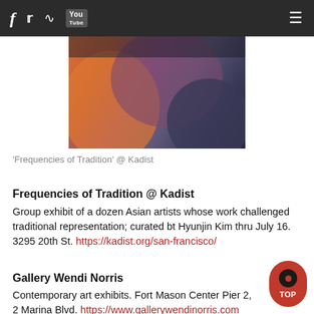f [twitter] [rss] [YouTube] [menu]
[Figure (photo): Partial view of an art exhibition photo showing orange and purple/dark tones, cropped at top and sides]
'Frequencies of Tradition' @ Kadist
Frequencies of Tradition @ Kadist
Group exhibit of a dozen Asian artists whose work challenged traditional representation; curated bt Hyunjin Kim thru July 16. 3295 20th St. https://kadist.org/san-francisco/
Gallery Wendi Norris
Contemporary art exhibits. Fort Mason Center Pier 2, 2 Marina Blvd. https://www.gallerywendinorris.com